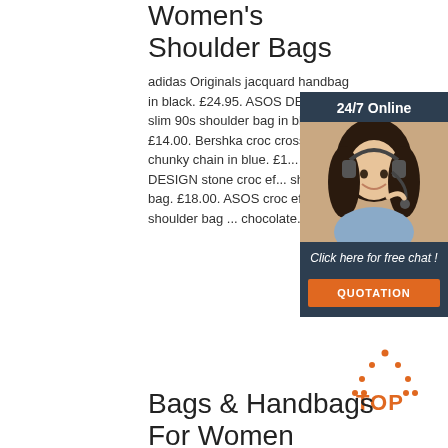Women's Shoulder Bags
adidas Originals jacquard handbag in black. £24.95. ASOS DESIGN slim 90s shoulder bag in black nyl... £14.00. Bershka croc cross b... with chunky chain in blue. £1... ASOS DESIGN stone croc ef... shoulder bag. £18.00. ASOS croc effect 90s shoulder bag ... chocolate.
[Figure (illustration): 24/7 Online chat widget with a woman wearing a headset, a 'Click here for free chat!' message and an orange QUOTATION button]
Get Price
[Figure (logo): TOP icon with orange dotted triangle and orange bold TOP text]
Bags & Handbags For Women